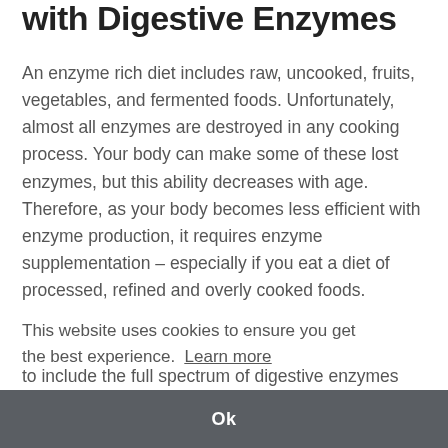with Digestive Enzymes
An enzyme rich diet includes raw, uncooked, fruits, vegetables, and fermented foods. Unfortunately, almost all enzymes are destroyed in any cooking process. Your body can make some of these lost enzymes, but this ability decreases with age. Therefore, as your body becomes less efficient with enzyme production, it requires enzyme supplementation – especially if you eat a diet of processed, refined and overly cooked foods.
This website uses cookies to ensure you get the best experience.  Learn more
to include the full spectrum of digestive enzymes